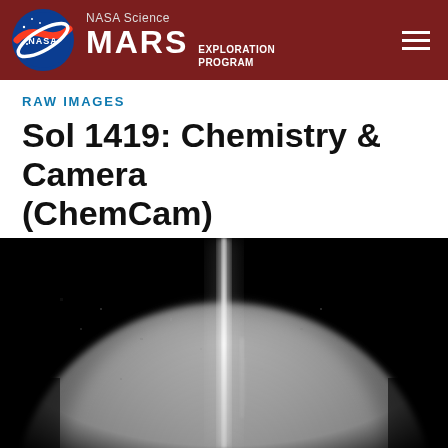NASA Science MARS EXPLORATION PROGRAM
RAW IMAGES
Sol 1419: Chemistry & Camera (ChemCam)
[Figure (photo): Grayscale ChemCam raw image from Mars Curiosity rover Sol 1419 showing a rounded rock surface with a bright vertical streak or laser ablation mark in the center against a dark background with a circular vignette.]